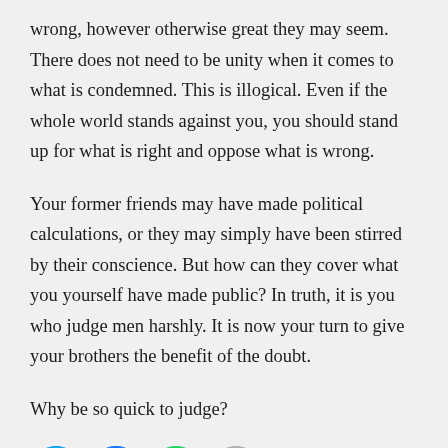wrong, however otherwise great they may seem. There does not need to be unity when it comes to what is condemned. This is illogical. Even if the whole world stands against you, you should stand up for what is right and oppose what is wrong.
Your former friends may have made political calculations, or they may simply have been stirred by their conscience. But how can they cover what you yourself have made public? In truth, it is you who judge men harshly. It is now your turn to give your brothers the benefit of the doubt.
Why be so quick to judge?
[Figure (other): Row of four social sharing icon buttons: Twitter (blue bird icon), Facebook (blue f icon), WhatsApp (green phone icon), Email (grey envelope icon)]